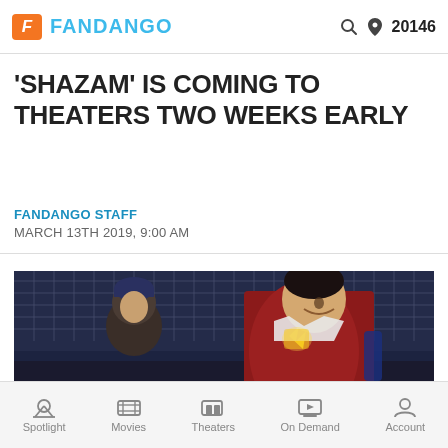FANDANGO  20146
'SHAZAM' IS COMING TO THEATERS TWO WEEKS EARLY
FANDANGO STAFF
MARCH 13TH 2019, 9:00 AM
[Figure (photo): Scene from Shazam movie: superhero in red suit with lightning bolt emblem facing a child, in front of a chain-link fence at night]
Spotlight  Movies  Theaters  On Demand  Account